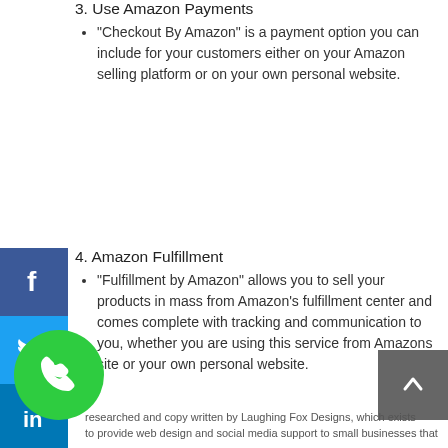3. Use Amazon Payments
"Checkout By Amazon" is a payment option you can include for your customers either on your Amazon selling platform or on your own personal website.
4. Amazon Fulfillment
"Fulfillment by Amazon" allows you to sell your products in mass from Amazon's fulfillment center and comes complete with tracking and communication to you, whether you are using this service from Amazons site or your own personal website.
5. Publish your own self authored literature and books on Amazon for a wider audience view.
[Figure (infographic): Social media sidebar icons: Facebook (blue), Twitter (light blue), LinkedIn (blue), Pinterest (red), Google+ (red-orange)]
[Figure (illustration): Green circular phone/call button icon]
[Figure (other): Dark gray back-to-top button with upward arrow]
researched and copy written by Laughing Fox Designs, which exists to provide web design and social media support to small businesses that